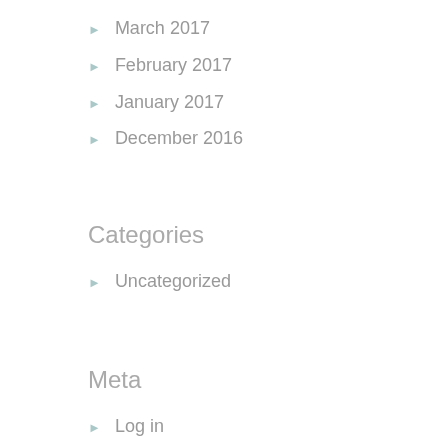March 2017
February 2017
January 2017
December 2016
Categories
Uncategorized
Meta
Log in
Entries feed